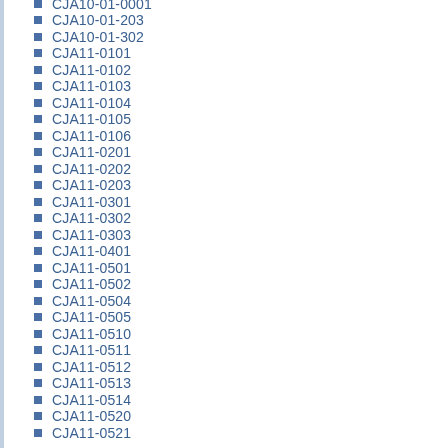CJA10-01-203
CJA10-01-302
CJA11-0101
CJA11-0102
CJA11-0103
CJA11-0104
CJA11-0105
CJA11-0106
CJA11-0201
CJA11-0202
CJA11-0203
CJA11-0301
CJA11-0302
CJA11-0303
CJA11-0401
CJA11-0501
CJA11-0502
CJA11-0504
CJA11-0505
CJA11-0510
CJA11-0511
CJA11-0512
CJA11-0513
CJA11-0514
CJA11-0520
CJA11-0521